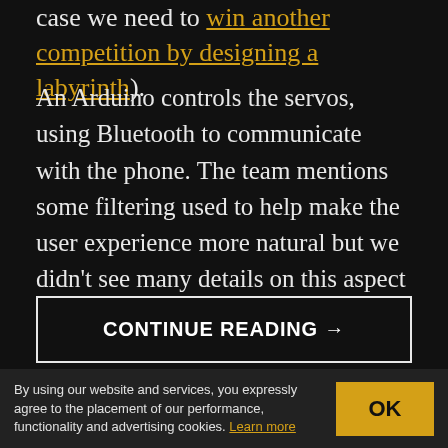case we need to win another competition by designing a labyrinth).
An Arduino controls the servos, using Bluetooth to communicate with the phone. The team mentions some filtering used to help make the user experience more natural but we didn't see many details on this aspect of the hack.
CONTINUE READING →
Posted in Toy Hacks
Tagged accelerometer, hackathon, labyrinth
By using our website and services, you expressly agree to the placement of our performance, functionality and advertising cookies. Learn more